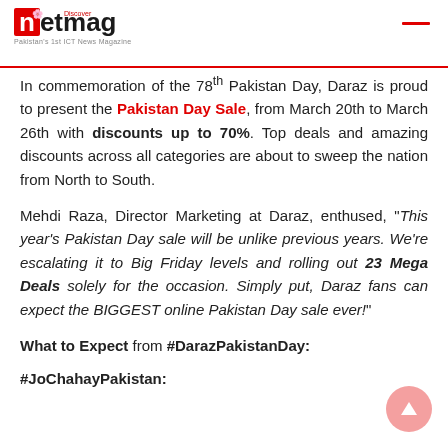netmag — Pakistan's 1st ICT News Magazine
In commemoration of the 78th Pakistan Day, Daraz is proud to present the Pakistan Day Sale, from March 20th to March 26th with discounts up to 70%. Top deals and amazing discounts across all categories are about to sweep the nation from North to South.
Mehdi Raza, Director Marketing at Daraz, enthused, "This year's Pakistan Day sale will be unlike previous years. We're escalating it to Big Friday levels and rolling out 23 Mega Deals solely for the occasion. Simply put, Daraz fans can expect the BIGGEST online Pakistan Day sale ever!"
What to Expect from #DarazPakistanDay:
#JoChahayPakistan: